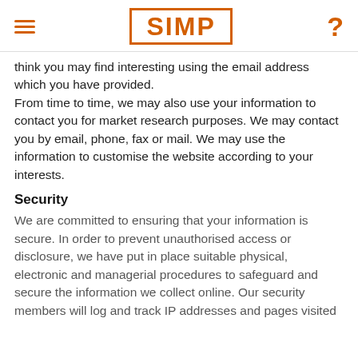SIMP
think you may find interesting using the email address which you have provided.
From time to time, we may also use your information to contact you for market research purposes. We may contact you by email, phone, fax or mail. We may use the information to customise the website according to your interests.
Security
We are committed to ensuring that your information is secure. In order to prevent unauthorised access or disclosure, we have put in place suitable physical, electronic and managerial procedures to safeguard and secure the information we collect online. Our security members will log and track IP addresses and pages visited